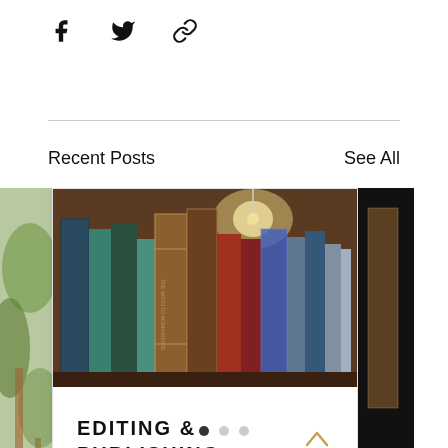[Figure (other): Social share icons: Facebook, Twitter, and link/chain icon]
Recent Posts
See All
[Figure (photo): Photo of colorful books on a shelf, viewed spine-on]
EDITING & PUBLISHING:...